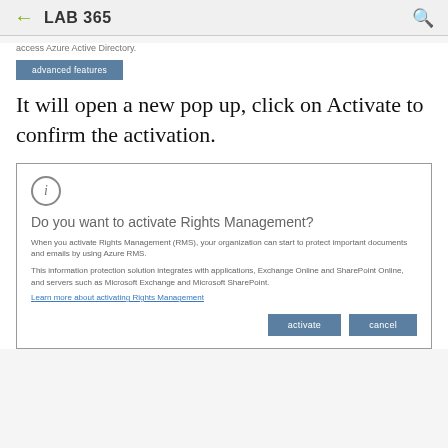← LAB 365 🔍
access Azure Active Directory.
[Figure (screenshot): Button labeled 'advanced features' with dark blue/teal background]
It will open a new pop up, click on Activate to confirm the activation.
[Figure (screenshot): Dialog box: 'Do you want to activate Rights Management?' with info icon, description text, a link 'Learn more about activating Rights Management', and two buttons: 'activate' and 'cancel']